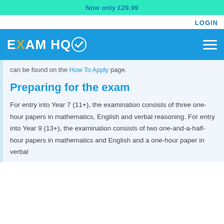Now only £29.99
LOGIN
EXAM HQ
can be found on the How To Apply page.
Preparing for the exam
For entry into Year 7 (11+), the examination consists of three one-hour papers in mathematics, English and verbal reasoning. For entry into Year 9 (13+), the examination consists of two one-and-a-half-hour papers in mathematics and English and a one-hour paper in verbal